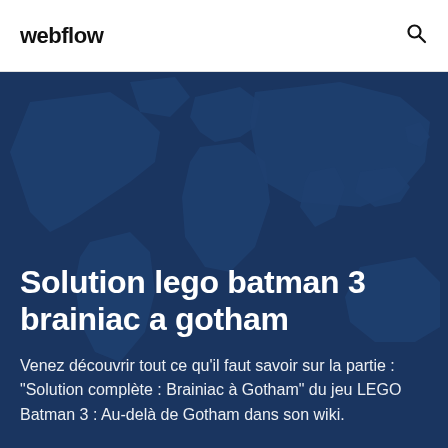webflow
[Figure (illustration): Dark blue world map background with lighter blue continent outlines visible through the overlay]
Solution lego batman 3 brainiac a gotham
Venez découvrir tout ce qu'il faut savoir sur la partie : "Solution complète : Brainiac à Gotham" du jeu LEGO Batman 3 : Au-delà de Gotham dans son wiki.